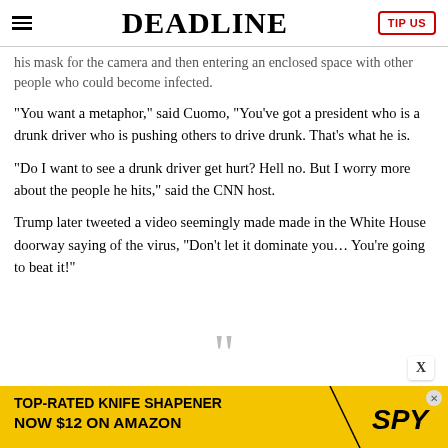DEADLINE
his mask for the camera and then entering an enclosed space with other people who could become infected.
“You want a metaphor,” said Cuomo, “You’ve got a president who is a drunk driver who is pushing others to drive drunk. That’s what he is.
“Do I want to see a drunk driver get hurt? Hell no. But I worry more about the people he hits,” said the CNN host.
Trump later tweeted a video seemingly made made in the White House doorway saying of the virus, “Don’t let it dominate you… You’re going to beat it!”
[Figure (screenshot): Advertisement banner: TOP-RATED KNIFE SHAPENER NOW $12 ON AMAZON / SPY logo on yellow background]